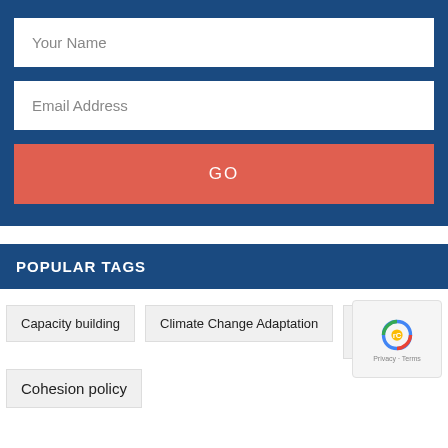Your Name
Email Address
GO
POPULAR TAGS
Capacity building
Climate Change Adaptation
CLI...
Cohesion policy